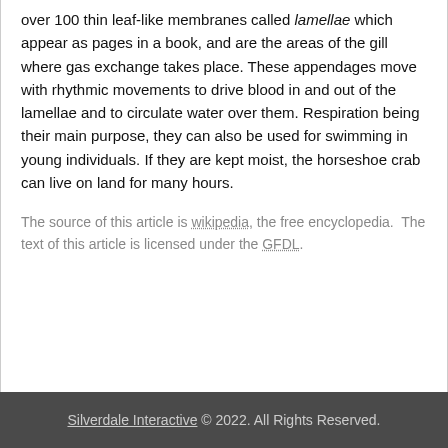over 100 thin leaf-like membranes called lamellae which appear as pages in a book, and are the areas of the gill where gas exchange takes place. These appendages move with rhythmic movements to drive blood in and out of the lamellae and to circulate water over them. Respiration being their main purpose, they can also be used for swimming in young individuals. If they are kept moist, the horseshoe crab can live on land for many hours.
The source of this article is wikipedia, the free encyclopedia.  The text of this article is licensed under the GFDL.
Silverdale Interactive © 2022. All Rights Reserved.